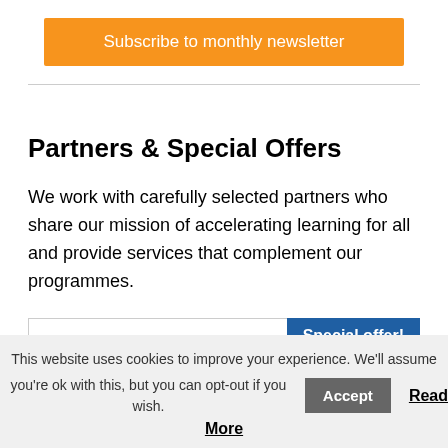[Figure (other): Orange button with white text: Subscribe to monthly newsletter]
Partners & Special Offers
We work with carefully selected partners who share our mission of accelerating learning for all and provide services that complement our programmes.
[Figure (other): Card with blue swoosh graphic and a dark blue 'Special offer!' badge]
This website uses cookies to improve your experience. We'll assume you're ok with this, but you can opt-out if you wish. Accept Read More